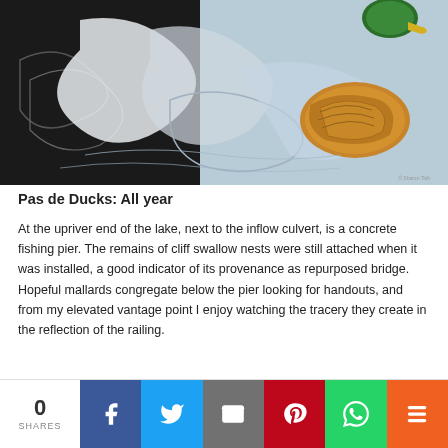[Figure (illustration): Artwork showing mallard ducks swimming, rendered in a graphic print style with black-and-white swirling water reflections and a colorful brown duck shape on the right side.]
Pas de Ducks: All year
At the upriver end of the lake, next to the inflow culvert, is a concrete fishing pier. The remains of cliff swallow nests were still attached when it was installed, a good indicator of its provenance as repurposed bridge. Hopeful mallards congregate below the pier looking for handouts, and from my elevated vantage point I enjoy watching the tracery they create in the reflection of the railing.
0 SHARES | Facebook | Twitter | Email | Pinterest | WhatsApp | More